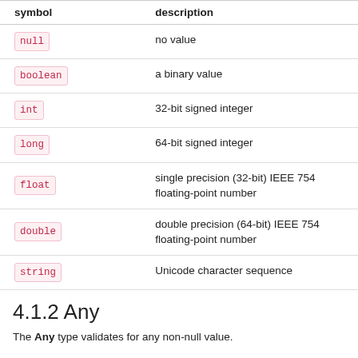| symbol | description |
| --- | --- |
| null | no value |
| boolean | a binary value |
| int | 32-bit signed integer |
| long | 64-bit signed integer |
| float | single precision (32-bit) IEEE 754 floating-point number |
| double | double precision (64-bit) IEEE 754 floating-point number |
| string | Unicode character sequence |
4.1.2 Any
The Any type validates for any non-null value.